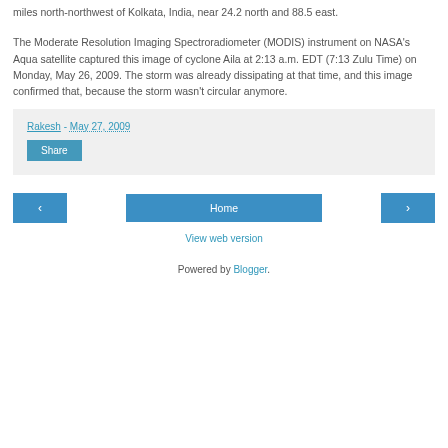miles north-northwest of Kolkata, India, near 24.2 north and 88.5 east.
The Moderate Resolution Imaging Spectroradiometer (MODIS) instrument on NASA's Aqua satellite captured this image of cyclone Aila at 2:13 a.m. EDT (7:13 Zulu Time) on Monday, May 26, 2009. The storm was already dissipating at that time, and this image confirmed that, because the storm wasn't circular anymore.
Rakesh - May 27, 2009
Share
‹
Home
›
View web version
Powered by Blogger.